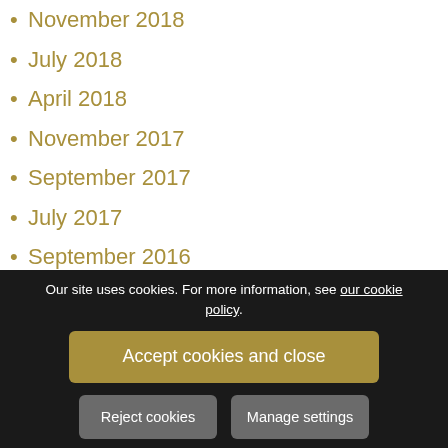November 2018
July 2018
April 2018
November 2017
September 2017
July 2017
September 2016
July 2016
June 2016
May 2016
March 2016
February 2016
Our site uses cookies. For more information, see our cookie policy.
Accept cookies and close
Reject cookies
Manage settings